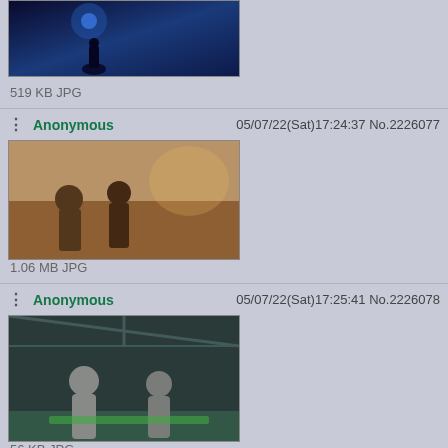[Figure (screenshot): Partial top post showing image thumbnail (dark blue/purple anime scene) with file info '519 KB JPG']
519 KB JPG
Anonymous  05/07/22(Sat)17:24:37 No.2226077
[Figure (screenshot): Anime scene thumbnail showing characters, warm tones, interior setting]
1.06 MB JPG
Anonymous  05/07/22(Sat)17:25:41 No.2226078
[Figure (screenshot): Anime scene thumbnail showing characters in dark sci-fi interior, teal/grey tones]
56 KB JPG
Anonymous  05/20/22(Fri)10:51:12 No.2226879
[Figure (screenshot): Partial thumbnail showing colorful fantasy/action anime scene]